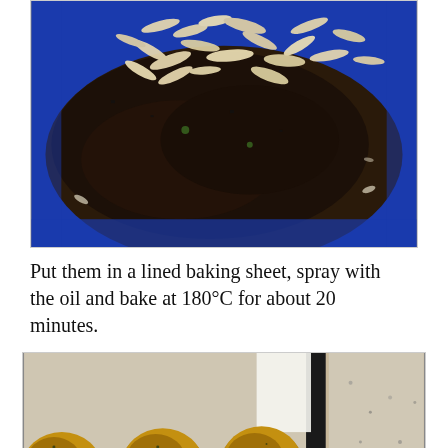[Figure (photo): Close-up photo of a dark crumbly food mixture topped with sliced almonds or similar nuts, served on a bright blue plate.]
Put them in a lined baking sheet, spray with the oil and bake at 180°C for about 20 minutes.
[Figure (photo): Photo of several golden-brown spiced food balls/patties placed on parchment paper on a baking sheet, with a stone countertop visible in the background.]